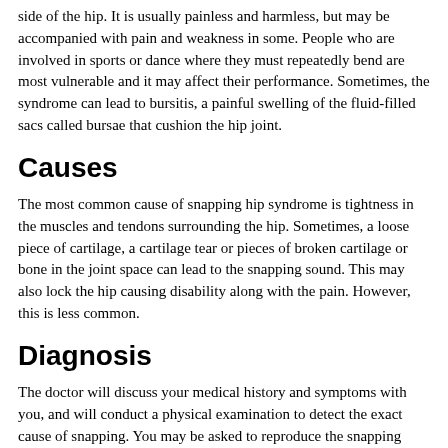side of the hip. It is usually painless and harmless, but may be accompanied with pain and weakness in some. People who are involved in sports or dance where they must repeatedly bend are most vulnerable and it may affect their performance. Sometimes, the syndrome can lead to bursitis, a painful swelling of the fluid-filled sacs called bursae that cushion the hip joint.
Causes
The most common cause of snapping hip syndrome is tightness in the muscles and tendons surrounding the hip. Sometimes, a loose piece of cartilage, a cartilage tear or pieces of broken cartilage or bone in the joint space can lead to the snapping sound. This may also lock the hip causing disability along with the pain. However, this is less common.
Diagnosis
The doctor will discuss your medical history and symptoms with you, and will conduct a physical examination to detect the exact cause of snapping. You may be asked to reproduce the snapping sound by moving your hip in different directions. Imaging tests